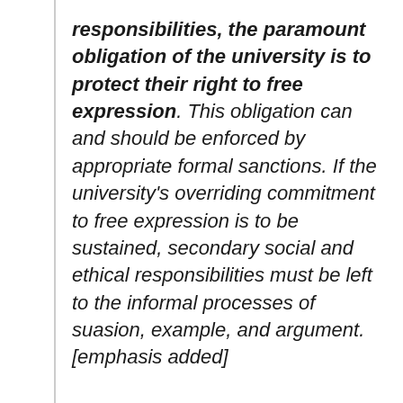responsibilities, the paramount obligation of the university is to protect their right to free expression. This obligation can and should be enforced by appropriate formal sanctions. If the university's overriding commitment to free expression is to be sustained, secondary social and ethical responsibilities must be left to the informal processes of suasion, example, and argument. [emphasis added]